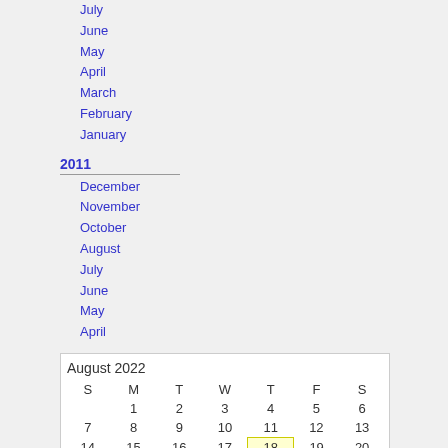July
June
May
April
March
February
January
2011
December
November
October
August
July
June
May
April
| S | M | T | W | T | F | S |
| --- | --- | --- | --- | --- | --- | --- |
|  | 1 | 2 | 3 | 4 | 5 | 6 |
| 7 | 8 | 9 | 10 | 11 | 12 | 13 |
| 14 | 15 | 16 | 17 | 18 | 19 | 20 |
| 21 | 22 | 23 | 24 | 25 | 26 | 27 |
| 28 | 29 | 30 | 31 |  |  |  |
Syndication